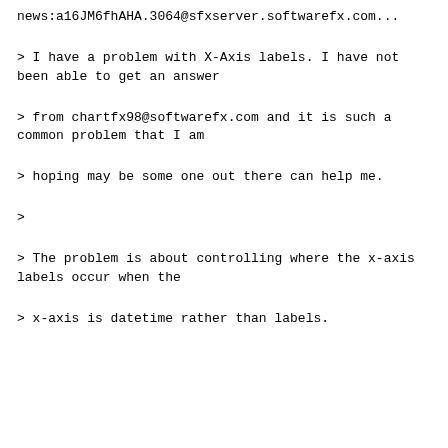news:a16JM6fhAHA.3064@sfxserver.softwarefx.com...
> I have a problem with X-Axis labels. I have not been able to get an answer
> from chartfx98@softwarefx.com and it is such a common problem that I am
> hoping may be some one out there can help me.
>
> The problem is about controlling where the x-axis labels occur when the
> x-axis is datetime rather than labels.